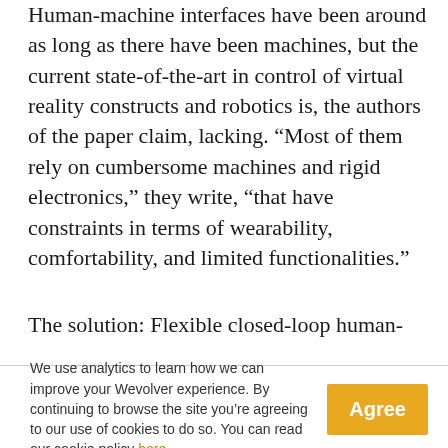Human-machine interfaces have been around as long as there have been machines, but the current state-of-the-art in control of virtual reality constructs and robotics is, the authors of the paper claim, lacking. “Most of them rely on cumbersome machines and rigid electronics,” they write, “that have constraints in terms of wearability, comfortability, and limited functionalities.”
The solution: Flexible closed-loop human-
We use analytics to learn how we can improve your Wevolver experience. By continuing to browse the site you’re agreeing to our use of cookies to do so. You can read our cookie policy here.